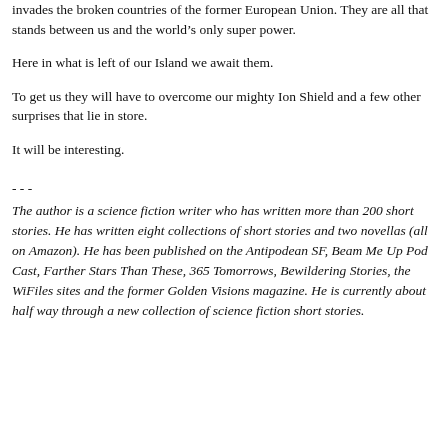invades the broken countries of the former European Union. They are all that stands between us and the world's only super power.
Here in what is left of our Island we await them.
To get us they will have to overcome our mighty Ion Shield and a few other surprises that lie in store.
It will be interesting.
- - -
The author is a science fiction writer who has written more than 200 short stories. He has written eight collections of short stories and two novellas (all on Amazon). He has been published on the Antipodean SF, Beam Me Up Pod Cast, Farther Stars Than These, 365 Tomorrows, Bewildering Stories, the WiFiles sites and the former Golden Visions magazine. He is currently about half way through a new collection of science fiction short stories.